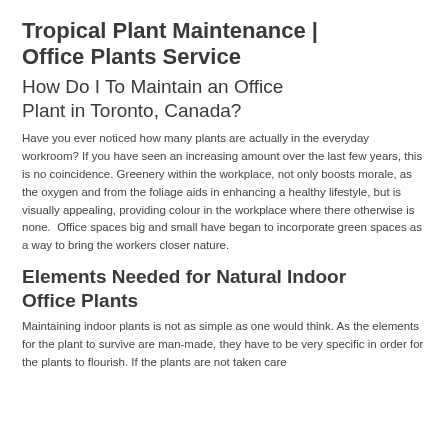Tropical Plant Maintenance | Office Plants Service
How Do I To Maintain an Office Plant in Toronto, Canada?
Have you ever noticed how many plants are actually in the everyday workroom? If you have seen an increasing amount over the last few years, this is no coincidence. Greenery within the workplace, not only boosts morale, as the oxygen and from the foliage aids in enhancing a healthy lifestyle, but is visually appealing, providing colour in the workplace where there otherwise is none.  Office spaces big and small have began to incorporate green spaces as a way to bring the workers closer nature.
Elements Needed for Natural Indoor Office Plants
Maintaining indoor plants is not as simple as one would think. As the elements for the plant to survive are man-made, they have to be very specific in order for the plants to flourish. If the plants are not taken care of...